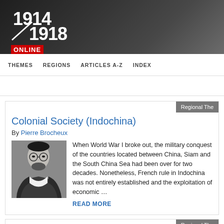[Figure (logo): 1914-1918 Online logo with red banner on dark background header]
THEMES   REGIONS   ARTICLES A-Z   INDEX
Colonial Society (Indochina)
By Pierre Brocheux
[Figure (photo): Black and white portrait photo of Pierre Brocheux]
When World War I broke out, the military conquest of the countries located between China, Siam and the South China Sea had been over for two decades. Nonetheless, French rule in Indochina was not entirely established and the exploitation of economic …
READ MORE
Regional The...